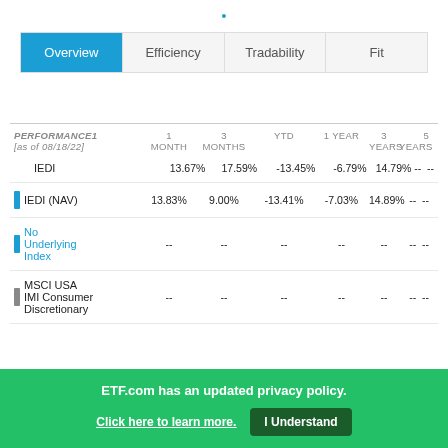•
|  | Overview | Efficiency | Tradability | Fit |
| --- | --- | --- | --- | --- |
| PERFORMANCE1 [as of 08/18/22] | 1 MONTH | 3 MONTHS | YTD | 1 YEAR | 3 YEARS | 5 YEARS | 10 YEARS |
| --- | --- | --- | --- | --- | --- | --- | --- |
| IEDI | 13.67% | 17.59% | -13.45% | -6.79% | 14.79% | -- | -- |
| IEDI (NAV) | 13.83% | 9.00% | -13.41% | -7.03% | 14.89% | -- | -- |
| No Underlying Index | -- | -- | -- | -- | -- | -- | -- |
| MSCI USA IMI Consumer Discretionary | -- | -- | -- | -- | -- | -- | -- |
ETF.com has an updated privacy policy.
Click here to learn more.  I Understand